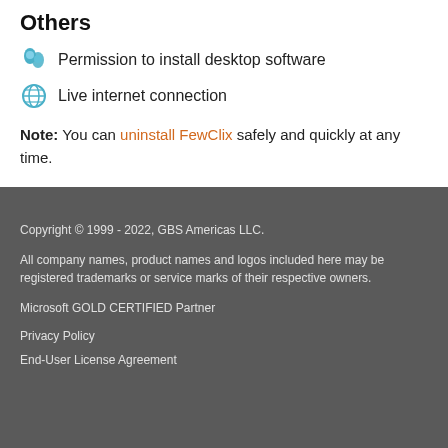Others
Permission to install desktop software
Live internet connection
Note: You can uninstall FewClix safely and quickly at any time.
Copyright © 1999 - 2022, GBS Americas LLC.

All company names, product names and logos included here may be registered trademarks or service marks of their respective owners.

Microsoft GOLD CERTIFIED Partner

Privacy Policy

End-User License Agreement